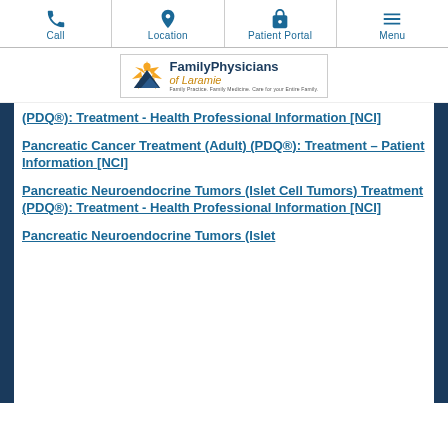Call | Location | Patient Portal | Menu
[Figure (logo): Family Physicians of Laramie logo with tagline: Family Practice. Family Medicine. Care for your Entire Family.]
(PDQ®): Treatment - Health Professional Information [NCI]
Pancreatic Cancer Treatment (Adult) (PDQ®): Treatment - Patient Information [NCI]
Pancreatic Neuroendocrine Tumors (Islet Cell Tumors) Treatment (PDQ®): Treatment - Health Professional Information [NCI]
Pancreatic Neuroendocrine Tumors (Islet